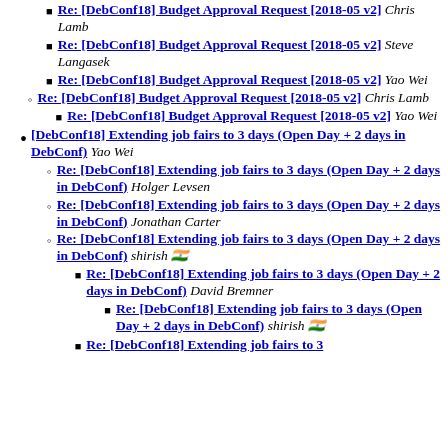Re: [DebConf18] Budget Approval Request [2018-05 v2] Chris Lamb
Re: [DebConf18] Budget Approval Request [2018-05 v2] Steve Langasek
Re: [DebConf18] Budget Approval Request [2018-05 v2] Yao Wei
Re: [DebConf18] Budget Approval Request [2018-05 v2] Chris Lamb
Re: [DebConf18] Budget Approval Request [2018-05 v2] Yao Wei
[DebConf18] Extending job fairs to 3 days (Open Day + 2 days in DebConf) Yao Wei
Re: [DebConf18] Extending job fairs to 3 days (Open Day + 2 days in DebConf) Holger Levsen
Re: [DebConf18] Extending job fairs to 3 days (Open Day + 2 days in DebConf) Jonathan Carter
Re: [DebConf18] Extending job fairs to 3 days (Open Day + 2 days in DebConf) shirish ����
Re: [DebConf18] Extending job fairs to 3 days (Open Day + 2 days in DebConf) David Bremner
Re: [DebConf18] Extending job fairs to 3 days (Open Day + 2 days in DebConf) shirish ����
Re: [DebConf18] Extending job fairs to 3